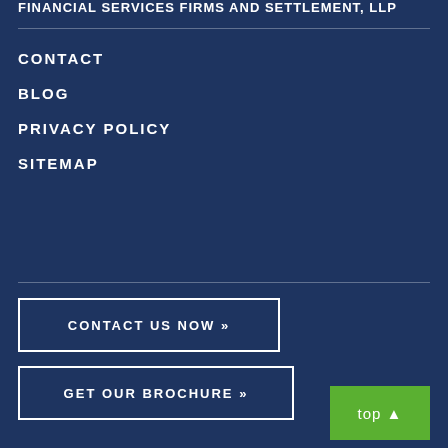FINANCIAL SERVICES FIRMS AND SETTLEMENT...
CONTACT
BLOG
PRIVACY POLICY
SITEMAP
CONTACT US NOW »
GET OUR BROCHURE »
top ▲